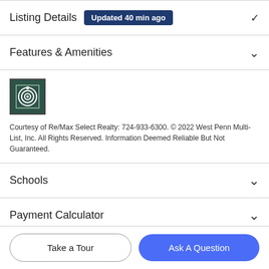Listing Details Updated 40 min ago
Features & Amenities
[Figure (logo): West Penn Multi-List logo, dark green square with circular target/camera icon in white]
Courtesy of Re/Max Select Realty: 724-933-6300. © 2022 West Penn Multi-List, Inc. All Rights Reserved. Information Deemed Reliable But Not Guaranteed.
Schools
Payment Calculator
Take a Tour
Ask A Question